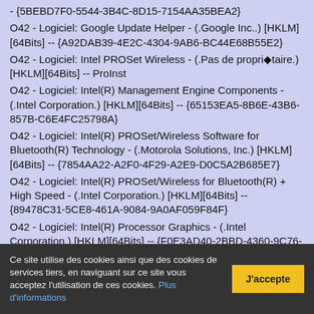- {5BEBD7F0-5544-3B4C-8D15-7154AA35BEA2}
O42 - Logiciel: Google Update Helper - (.Google Inc..) [HKLM][64Bits] -- {A92DAB39-4E2C-4304-9AB6-BC44E68B55E2}
O42 - Logiciel: Intel PROSet Wireless - (.Pas de propriétaire.) [HKLM][64Bits] -- ProInst
O42 - Logiciel: Intel(R) Management Engine Components - (.Intel Corporation.) [HKLM][64Bits] -- {65153EA5-8B6E-43B6-857B-C6E4FC25798A}
O42 - Logiciel: Intel(R) PROSet/Wireless Software for Bluetooth(R) Technology - (.Motorola Solutions, Inc.) [HKLM][64Bits] -- {7854AA22-A2F0-4F29-A2E9-D0C5A2B685E7}
O42 - Logiciel: Intel(R) PROSet/Wireless for Bluetooth(R) + High Speed - (.Intel Corporation.) [HKLM][64Bits] -- {89478C31-5CE8-461A-9084-9A0AF059F84F}
O42 - Logiciel: Intel(R) Processor Graphics - (.Intel Corporation.) [HKLM][64Bits] -- {F0E3AD40-2BBD-4360-9C76-B9AC9A5886EA}
O42 - Logiciel: Intel(R) SDK for OpenCL - CPU Only Runtime Package - (.Intel Corporation.) [HKLM][64Bits] -- {FCB3772C-
Ce site utilise des cookies ainsi que des cookies de services tiers, en naviguant sur ce site vous acceptez l'utilisation de ces cookies. Plus d'informations
J'accepte